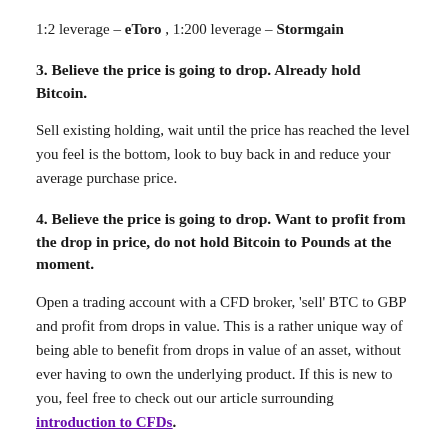1:2 leverage – eToro , 1:200 leverage – Stormgain
3. Believe the price is going to drop. Already hold Bitcoin.
Sell existing holding, wait until the price has reached the level you feel is the bottom, look to buy back in and reduce your average purchase price.
4. Believe the price is going to drop. Want to profit from the drop in price, do not hold Bitcoin to Pounds at the moment.
Open a trading account with a CFD broker, 'sell' BTC to GBP and profit from drops in value. This is a rather unique way of being able to benefit from drops in value of an asset, without ever having to own the underlying product. If this is new to you, feel free to check out our article surrounding introduction to CFDs.